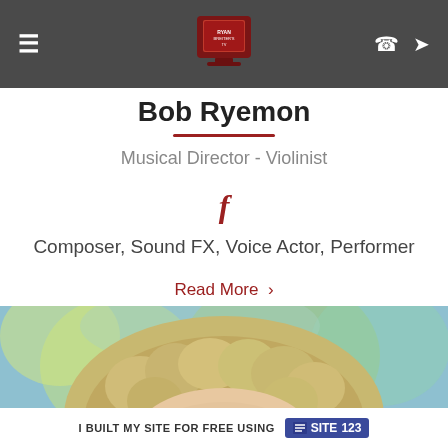Navigation bar with hamburger menu, logo, phone and location icons
Bob Ryemon
Musical Director - Violinist
[Figure (logo): Facebook 'f' icon in dark red color]
Composer, Sound FX, Voice Actor, Performer
Read More >
[Figure (photo): Close-up photo of person with blonde curly hair against colorful blue-green painted background, showing top of head and forehead]
I BUILT MY SITE FOR FREE USING SITE123